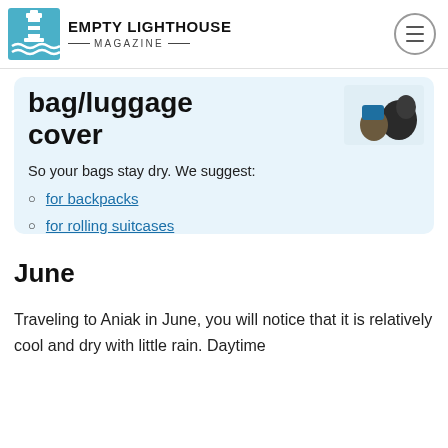EMPTY LIGHTHOUSE MAGAZINE
bag/luggage cover
So your bags stay dry. We suggest:
for backpacks
for rolling suitcases
June
Traveling to Aniak in June, you will notice that it is relatively cool and dry with little rain. Daytime